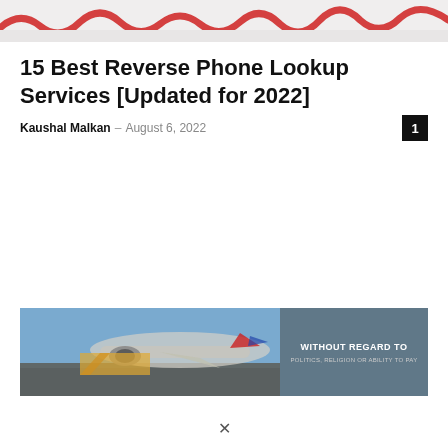[Figure (photo): Top banner image with red wavy/squiggly decorative element on light background]
15 Best Reverse Phone Lookup Services [Updated for 2022]
Kaushal Malkan – August 6, 2022
[Figure (photo): Advertisement banner showing an airplane being loaded with cargo on the tarmac, with text panel reading WITHOUT REGARD TO POLITICS, RELIGION OR ABILITY TO PAY]